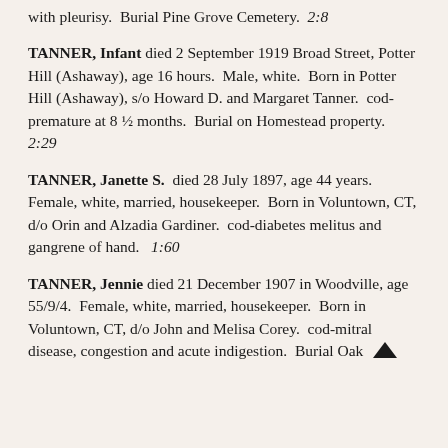with pleurisy.  Burial Pine Grove Cemetery.  2:8
TANNER, Infant died 2 September 1919 Broad Street, Potter Hill (Ashaway), age 16 hours.  Male, white.  Born in Potter Hill (Ashaway), s/o Howard D. and Margaret Tanner.  cod-premature at 8 ½ months.  Burial on Homestead property.  2:29
TANNER, Janette S.  died 28 July 1897, age 44 years.  Female, white, married, housekeeper.  Born in Voluntown, CT, d/o Orin and Alzadia Gardiner.  cod-diabetes melitus and gangrene of hand.  1:60
TANNER, Jennie died 21 December 1907 in Woodville, age 55/9/4.  Female, white, married, housekeeper.  Born in Voluntown, CT, d/o John and Melisa Corey.  cod-mitral disease, congestion and acute indigestion.  Burial Oak